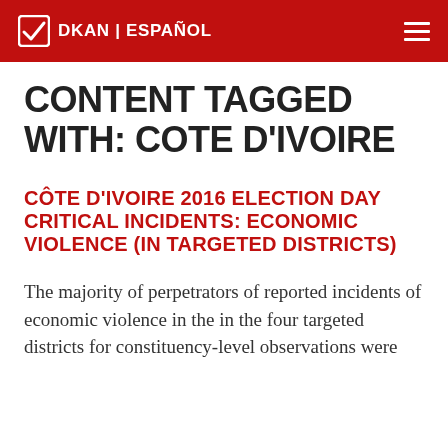DKAN | ESPAÑOL
CONTENT TAGGED WITH: COTE D'IVOIRE
CÔTE D'IVOIRE 2016 ELECTION DAY CRITICAL INCIDENTS: ECONOMIC VIOLENCE (IN TARGETED DISTRICTS)
The majority of perpetrators of reported incidents of economic violence in the in the four targeted districts for constituency-level observations were